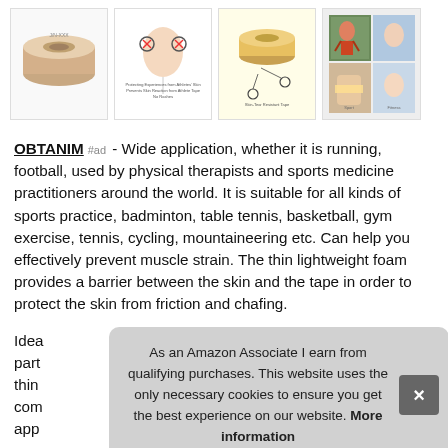[Figure (photo): Four product images of athletic/sports tape: a roll of beige tape, instructional diagram showing application, a roll with usage diagram, and collage of sports/injury photos]
OBTANIM #ad - Wide application, whether it is running, football, used by physical therapists and sports medicine practitioners around the world. It is suitable for all kinds of sports practice, badminton, table tennis, basketball, gym exercise, tennis, cycling, mountaineering etc. Can help you effectively prevent muscle strain. The thin lightweight foam provides a barrier between the skin and the tape in order to protect the skin from friction and chafing.
Idea... part... thin... com... app...
As an Amazon Associate I earn from qualifying purchases. This website uses the only necessary cookies to ensure you get the best experience on our website. More information